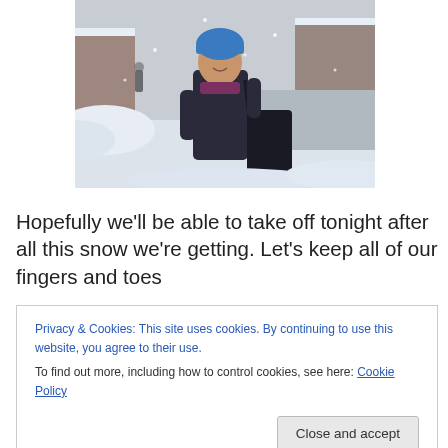[Figure (photo): A person wearing a blue winter hat and dark jacket standing on a snowy street, carrying bags, smiling at camera. Snow-covered cars and buildings visible in background.]
Hopefully we'll be able to take off tonight after all this snow we're getting. Let's keep all of our fingers and toes
Privacy & Cookies: This site uses cookies. By continuing to use this website, you agree to their use. To find out more, including how to control cookies, see here: Cookie Policy
Unfortunately there is no real-time tracking for the